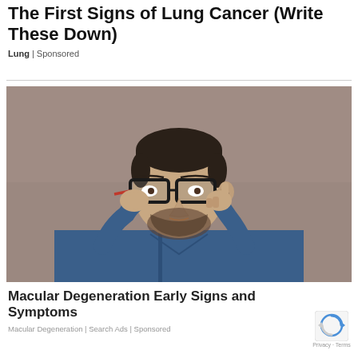The First Signs of Lung Cancer (Write These Down)
Lung | Sponsored
[Figure (photo): A man in a blue denim shirt adjusting his glasses with one hand and pointing near his eye with the other, against a grey-brown background.]
Macular Degeneration Early Signs and Symptoms
Macular Degeneration | Search Ads | Sponsored